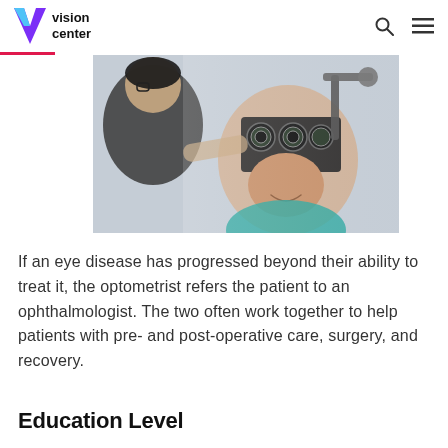vision center
[Figure (photo): An optometrist using a phoropter to examine a patient's eyes. The patient is smiling and wearing the phoropter device in front of her face while the eye doctor adjusts it.]
If an eye disease has progressed beyond their ability to treat it, the optometrist refers the patient to an ophthalmologist. The two often work together to help patients with pre- and post-operative care, surgery, and recovery.
Education Level